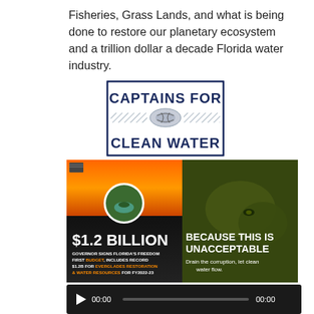Fisheries, Grass Lands, and what is being done to restore our planetary ecosystem and a trillion dollar a decade Florida water industry.
[Figure (logo): Captains for Clean Water logo with rope knot design in a rectangular border]
[Figure (infographic): Split infographic: left side shows $1.2 BILLION Governor signs Florida's Freedom First Budget, includes record $1.2B for Everglades Restoration & Water Resources for FY2022-23; right side shows alligator in algae-covered water with text BECAUSE THIS IS UNACCEPTABLE - Drain the corruption, let clean water flow.]
[Figure (other): Audio player bar with play button, 00:00 timestamps, and progress bar]